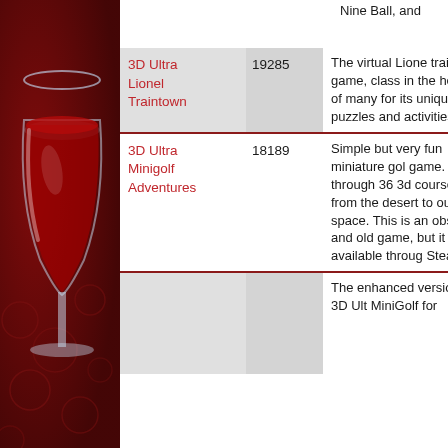[Figure (illustration): Left decorative panel with dark red background, circular pattern decorations, and a Wine application logo (wine glass with red wine)]
Nine Ball, and
| Game Name | ID | Description |
| --- | --- | --- |
| 3D Ultra Lionel Traintown | 19285 | The virtual Lionel train game, classic in the hearts of many for its unique puzzles and activities. |
| 3D Ultra Minigolf Adventures | 18189 | Simple but very fun miniature golf game. Play through 36 3d courses, from the desert to outer space. This is an obscure and old game, but it is still available through Steam. |
|  |  | The enhanced version of 3D Ultra MiniGolf for |